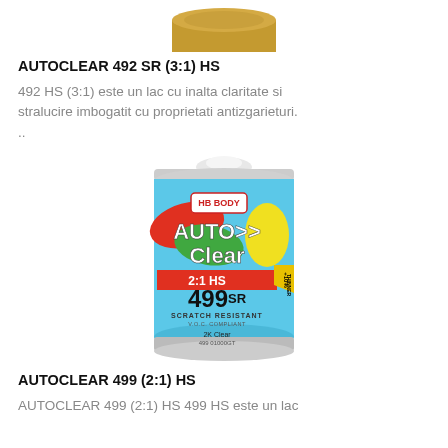[Figure (photo): Partial view of the bottom of a paint can (AUTOCLEAR 492 SR) visible at the very top of the page]
AUTOCLEAR 492 SR (3:1) HS
492 HS (3:1) este un lac cu inalta claritate si stralucire imbogatit cu proprietati antizgarieturi. ..
[Figure (photo): HB Body AutoClear 499 SR (2:1) HS scratch resistant 2K clear paint can with blue label, 1 litre tin]
AUTOCLEAR 499 (2:1) HS
AUTOCLEAR 499 (2:1) HS 499 HS este un lac